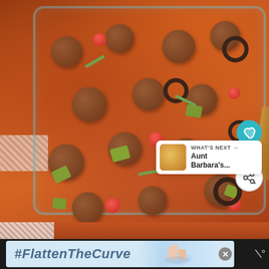[Figure (photo): A glass baking dish filled with meatballs in tomato sauce topped with melted cheese, diced avocado, cherry tomatoes, sliced black olives, and green onions. A wooden spoon is visible at the right edge. The dish sits on a striped cloth napkin.]
[Figure (infographic): Social interaction buttons overlaid on photo: a teal heart button, the number 14, and a white share button with a plus symbol.]
[Figure (infographic): What's Next panel showing a thumbnail image and text 'WHAT'S NEXT → Aunt Barbara's...']
[Figure (photo): Partial bottom view of the casserole dish.]
[Figure (screenshot): Advertisement banner with light blue background showing '#FlattenTheCurve' text in bold italic, a hand-washing image, and a close button X. On the far right is a logo resembling 'W°' in dark background.]